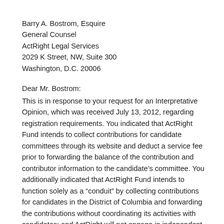Barry A. Bostrom, Esquire
General Counsel
ActRight Legal Services
2029 K Street, NW, Suite 300
Washington, D.C. 20006
Dear Mr. Bostrom:
This is in response to your request for an Interpretative Opinion, which was received July 13, 2012, regarding registration requirements. You indicated that ActRight Fund intends to collect contributions for candidate committees through its website and deduct a service fee prior to forwarding the balance of the contribution and contributor information to the candidate's committee. You additionally indicated that ActRight Fund intends to function solely as a “conduit” by collecting contributions for candidates in the District of Columbia and forwarding the contributions without coordinating its activities with candidates; and ActRight will not engage in independent expenditures. You requested answers to the following four questions: